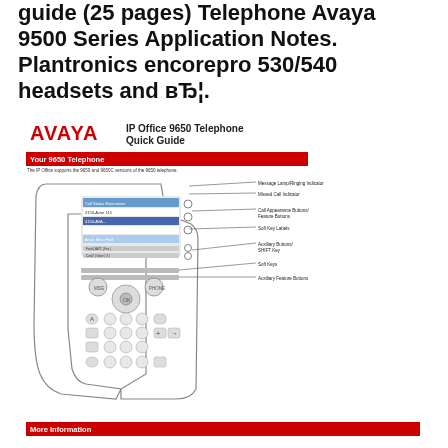guide (25 pages) Telephone Avaya 9500 Series Application Notes. Plantronics encorepro 530/540 headsets and вЂ¦.
[Figure (illustration): Avaya IP Office 9650 Telephone Quick Guide cover/excerpt showing the telephone diagram with labeled parts including Message Lamp/Ringing Indicator, Missed Call Indicator, Call Appearance Buttons/Feature Buttons, Soft Key Labels, Auxiliary Buttons/SHIFT Key, Soft Keys, Auxiliary Feature Buttons. Red banner 'Your 9650 Telephone', descriptive text about programmable call appearance/feature buttons, and a red 'More Information' banner at the bottom.]